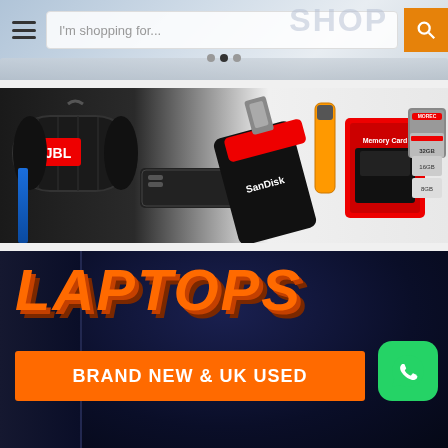[Figure (screenshot): E-commerce website header with hamburger menu, search bar saying 'I'm shopping for...', and orange search button with magnifier icon. Background shows partial laptop image.]
[Figure (photo): Electronics accessories banner showing JBL Bluetooth speaker, SanDisk USB flash drives, laptop battery, USB drive, and memory cards (64GB, 32GB, 16GB, 8GB) on white background.]
[Figure (photo): Laptops promotional banner with large orange italic 'LAPTOPS' text on dark navy background, orange banner reading 'BRAND NEW & UK USED', and WhatsApp contact button.]